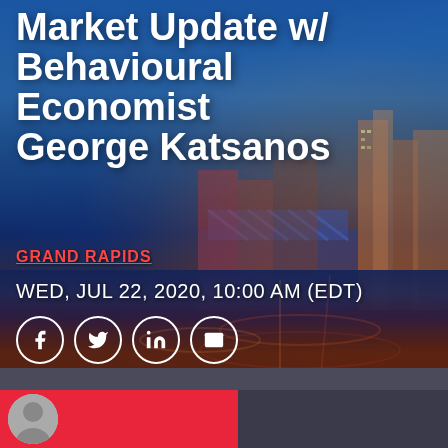Market Update w/ Behavioural Economist George Katsanos
GRAND RAPIDS
WED, JUL 22, 2020, 10:00 AM (EDT)
[Figure (infographic): Social media share icons: Facebook, Twitter, LinkedIn, Email - white circle outlines on blurred city background]
VIRTUAL EVENT
Payment Issues? Let us know
[Figure (photo): Blurred city skyline background of Grand Rapids with colorful buildings and water reflection at night]